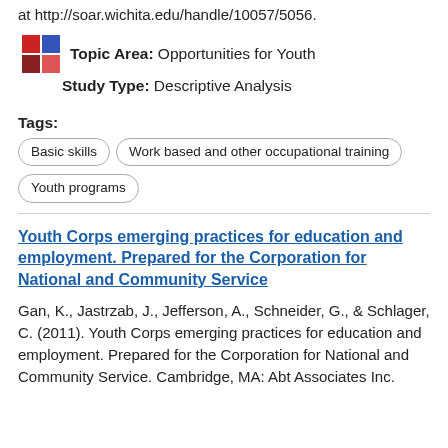at http://soar.wichita.edu/handle/10057/5056.
Topic Area: Opportunities for Youth
Study Type: Descriptive Analysis
Tags: Basic skills | Work based and other occupational training | Youth programs
Youth Corps emerging practices for education and employment. Prepared for the Corporation for National and Community Service
Gan, K., Jastrzab, J., Jefferson, A., Schneider, G., & Schlager, C. (2011). Youth Corps emerging practices for education and employment. Prepared for the Corporation for National and Community Service. Cambridge, MA: Abt Associates Inc.